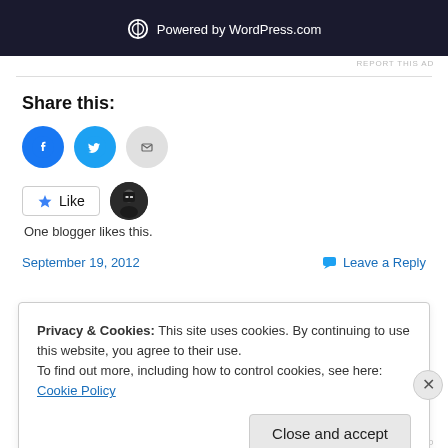[Figure (screenshot): WordPress.com powered banner in dark background with WordPress logo and text 'Powered by WordPress.com']
REPORT THIS AD
Share this:
[Figure (infographic): Social share icons: Facebook (blue circle), Twitter (cyan circle), Email (gray circle)]
[Figure (infographic): Like button with star icon and an avatar of a blogger in black]
One blogger likes this.
September 19, 2012
Leave a Reply
Privacy & Cookies: This site uses cookies. By continuing to use this website, you agree to their use.
To find out more, including how to control cookies, see here: Cookie Policy
Close and accept